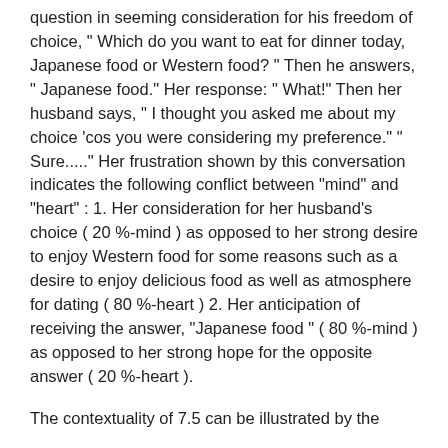question in seeming consideration for his freedom of choice, " Which do you want to eat for dinner today, Japanese food or Western food? " Then he answers, " Japanese food." Her response: " What!" Then her husband says, " I thought you asked me about my choice 'cos you were considering my preference." " Sure....." Her frustration shown by this conversation indicates the following conflict between "mind" and "heart" : 1. Her consideration for her husband's choice ( 20 %-mind ) as opposed to her strong desire to enjoy Western food for some reasons such as a desire to enjoy delicious food as well as atmosphere for dating ( 80 %-heart ) 2. Her anticipation of receiving the answer, "Japanese food " ( 80 %-mind ) as opposed to her strong hope for the opposite answer ( 20 %-heart ).
The contextuality of 7.5 can be illustrated by the